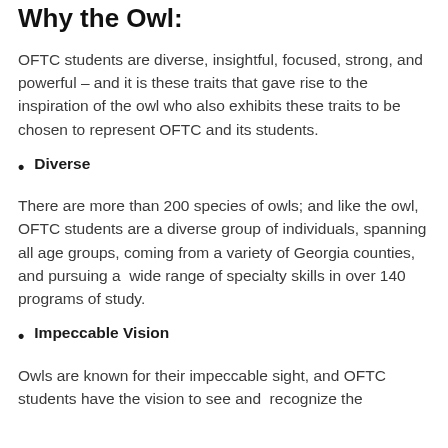Why the Owl:
OFTC students are diverse, insightful, focused, strong, and powerful – and it is these traits that gave rise to the inspiration of the owl who also exhibits these traits to be chosen to represent OFTC and its students.
Diverse
There are more than 200 species of owls; and like the owl, OFTC students are a diverse group of individuals, spanning all age groups, coming from a variety of Georgia counties, and pursuing a wide range of specialty skills in over 140 programs of study.
Impeccable Vision
Owls are known for their impeccable sight, and OFTC students have the vision to see and recognize the